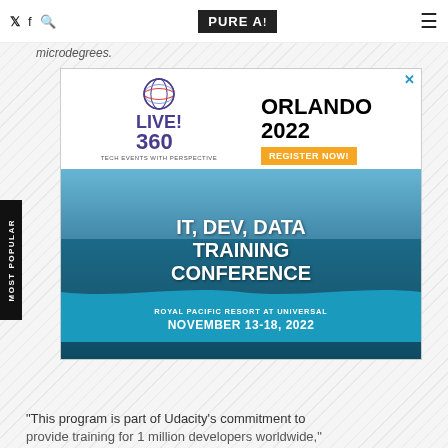PURE AI
microdegrees.
[Figure (other): Advertisement for Live! 360 conference in Orlando 2022 - IT, Dev, Data Training Conference at Royal Pacific Resort at Universal, November 13-18, 2022. Features Live! 360 Tech Events with Perspective logo and Register Now button.]
"This program is part of Udacity's commitment to provide training for 1 million developers worldwide."